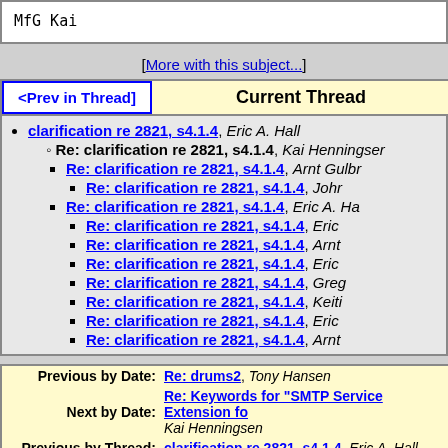MfG Kai
[More with this subject...]
| <Prev in Thread] | Current Thread |
| --- | --- |
clarification re 2821, s4.1.4, Eric A. Hall
Re: clarification re 2821, s4.1.4, Kai Henningsen
Re: clarification re 2821, s4.1.4, Arnt Gulbrandsen
Re: clarification re 2821, s4.1.4, John
Re: clarification re 2821, s4.1.4, Eric A. Ha
Re: clarification re 2821, s4.1.4, Eric
Re: clarification re 2821, s4.1.4, Arnt
Re: clarification re 2821, s4.1.4, Eric
Re: clarification re 2821, s4.1.4, Greg
Re: clarification re 2821, s4.1.4, Keith
Re: clarification re 2821, s4.1.4, Eric
Re: clarification re 2821, s4.1.4, Arnt
|  |  |
| --- | --- |
| Previous by Date: | Re: drums2, Tony Hansen |
| Next by Date: | Re: Keywords for "SMTP Service Extension fo... Kai Henningsen |
| Previous by Thread: | clarification re 2821, s4.1.4, Eric A. Hall |
| Next by Thread: | Re: clarification re 2821, s4.1.4, Arnt Gulbrandse |
| Indexes: | [Date] [Thread] [Top] [All Lists] |